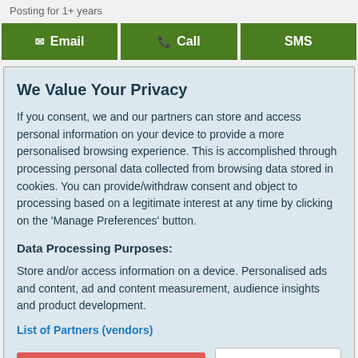Posting for 1+ years
Email  Call  SMS
We Value Your Privacy
If you consent, we and our partners can store and access personal information on your device to provide a more personalised browsing experience. This is accomplished through processing personal data collected from browsing data stored in cookies. You can provide/withdraw consent and object to processing based on a legitimate interest at any time by clicking on the 'Manage Preferences' button.
Data Processing Purposes:
Store and/or access information on a device. Personalised ads and content, ad and content measurement, audience insights and product development.
List of Partners (vendors)
Accept  Manage your privacy settings